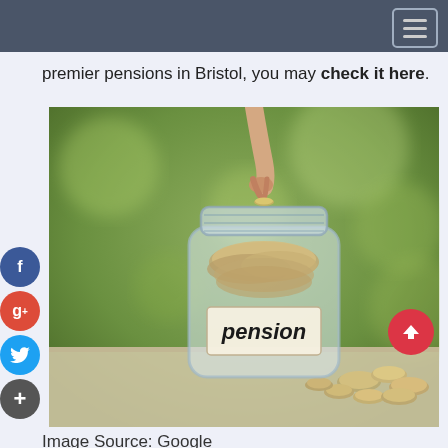Navigation bar with hamburger menu
premier pensions in Bristol, you may check it here.
[Figure (photo): A glass jar labeled 'pension' filled with coins, a hand dropping a coin into it, surrounded by scattered coins, set against a blurred green background.]
Image Source: Google